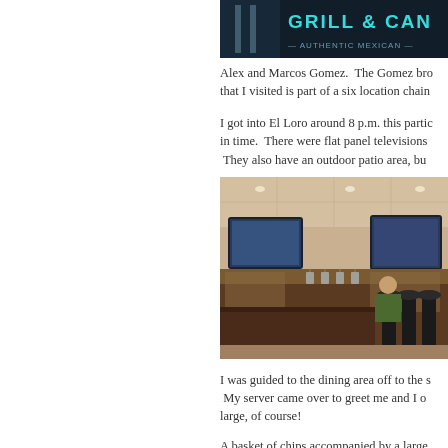[Figure (photo): Top portion of a restaurant sign showing 'GRILL & CAN...' text in teal/cyan letters on dark background]
Alex and Marcos Gomez.  The Gomez brothers... that I visited is part of a six location chain...
I got into El Loro around 8 p.m. this partic... in time.  There were flat panel televisions ...  They also have an outdoor patio area, bu...
[Figure (photo): Interior photo of El Loro restaurant bar area showing flat panel TVs, bar counter with stools, hanging glasses, and customers seated at the bar]
I was guided to the dining area off to the s...  My server came over to greet me and I o... large, of course!
A basket of chips accompanied by a large... through the menu.  A small bowl of what a... be something along the lines of a sour cre...